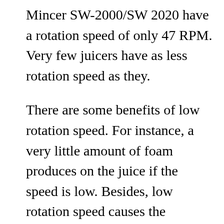Mincer SW-2000/SW 2020 have a rotation speed of only 47 RPM. Very few juicers have as less rotation speed as they.
There are some benefits of low rotation speed. For instance, a very little amount of foam produces on the juice if the speed is low. Besides, low rotation speed causes the enzymes and nutrients to be preserved since there is no heat build-up.
This eventually obstructs juice oxidation. In addition to this, the juice yield is increased by 30/40% by the slow juicing method which resists food waste and saves your money. Furthermore, a juicer with low rotation speed